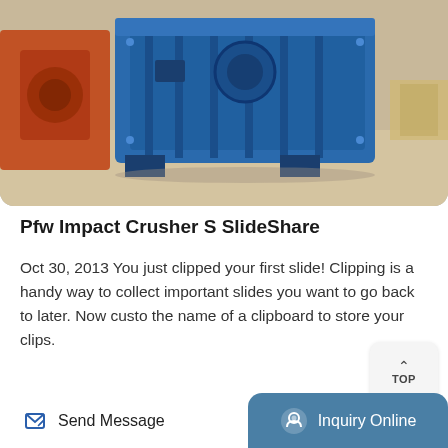[Figure (photo): Industrial blue impact crusher machine photographed outdoors in a factory/yard setting. Large blue metal crushing equipment with visible mechanical parts, orange machinery in background.]
Pfw Impact Crusher S SlideShare
Oct 30, 2013 You just clipped your first slide! Clipping is a handy way to collect important slides you want to go back to later. Now custo the name of a clipboard to store your clips.
[Figure (other): TOP navigation button with upward arrow chevron icon on light grey rounded square background]
[Figure (photo): Industrial vibrating screen or sieve machine inside a factory/warehouse with blue Chinese signage visible on the left side.]
Send Message   Inquiry Online